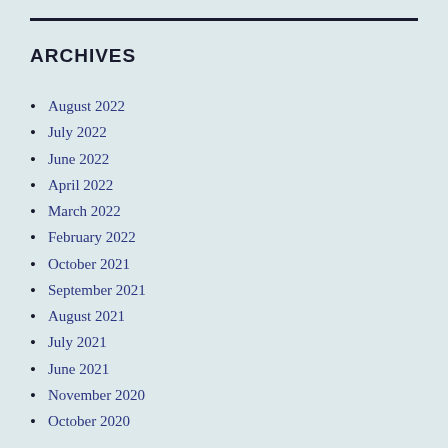ARCHIVES
August 2022
July 2022
June 2022
April 2022
March 2022
February 2022
October 2021
September 2021
August 2021
July 2021
June 2021
November 2020
October 2020